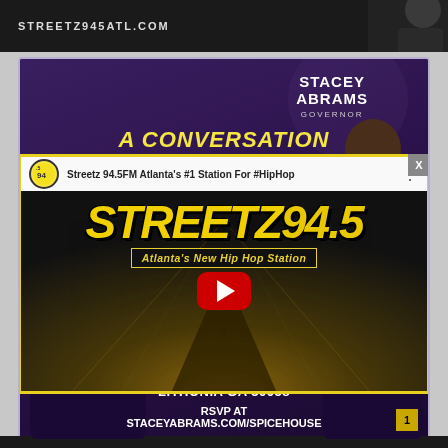[Figure (screenshot): Top banner showing STREETZ945ATL.COM text on dark background with silhouette photo of person]
[Figure (screenshot): Promotional event card with purple background showing Stacey Abrams Governor, A CONVERSATION text, venue details: Spice House, 2617 Panola Road, Lithonia GA 30058, RSVP at staceyabrams.com/spicehouse]
[Figure (screenshot): YouTube video embed overlay: Streetz 94.5FM Atlanta's #1 Station For #HipHop - Atlanta's New Hip Hop Station logo video thumbnail with play button]